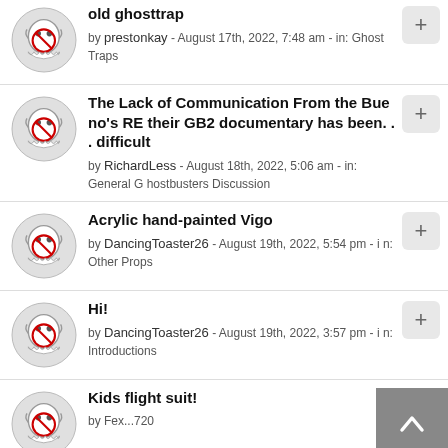old ghosttrap - by prestonkay - August 17th, 2022, 7:48 am - in: Ghost Traps
The Lack of Communication From the Buenos RE their GB2 documentary has been... difficult - by RichardLess - August 18th, 2022, 5:06 am - in: General Ghostbusters Discussion
Acrylic hand-painted Vigo - by DancingToaster26 - August 19th, 2022, 5:54 pm - in: Other Props
Hi! - by DancingToaster26 - August 19th, 2022, 3:57 pm - in: Introductions
Kids flight suit! - by Fex...720